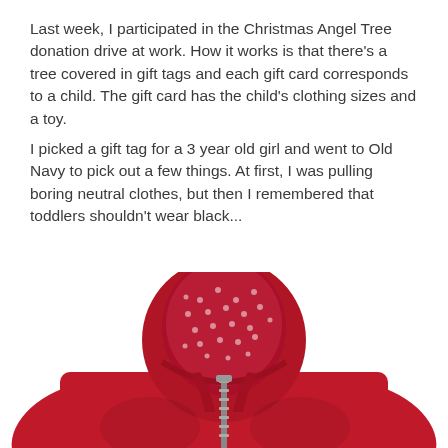Last week, I participated in the Christmas Angel Tree donation drive at work. How it works is that there's a tree covered in gift tags and each gift card corresponds to a child. The gift card has the child's clothing sizes and a toy.
I picked a gift tag for a 3 year old girl and went to Old Navy to pick out a few things. At first, I was pulling boring neutral clothes, but then I remembered that toddlers shouldn't wear black...
[Figure (photo): A red toddler's hooded zip-up jacket/coat with the hood open showing a red polka-dot lining inside, photographed on a white background.]